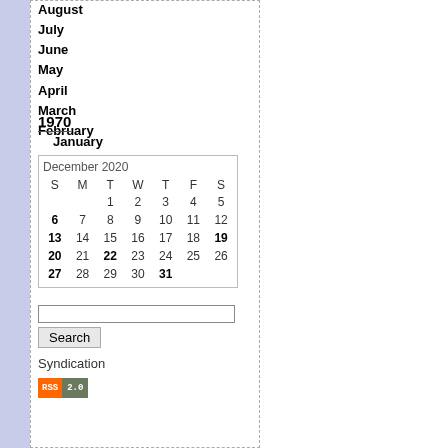August
July
June
May
April
March
February
1970
January
| S | M | T | W | T | F | S |
| --- | --- | --- | --- | --- | --- | --- |
|  |  | 1 | 2 | 3 | 4 | 5 |
| 6 | 7 | 8 | 9 | 10 | 11 | 12 |
| 13 | 14 | 15 | 16 | 17 | 18 | 19 |
| 20 | 21 | 22 | 23 | 24 | 25 | 26 |
| 27 | 28 | 29 | 30 | 31 |  |  |
Search
Syndication
[Figure (logo): RSS 2.0 badge with orange RSS label and grey-green 2.0 label]